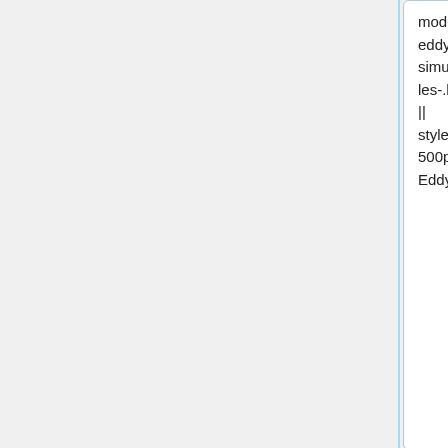modelling/large-eddy-simulations--les-.html/ LES] || style="width: 500pt;" |  Large Eddy Simulations
modelling/large-eddy-simulations--les-.html/ LES] || style="width: 500pt;" |  Large Eddy Simulations
|-
| style="width: 100pt;"| [https://www.hymex.org/?page=liaise LIAISE]  || style="width: 500pt;" | Land surface Interactions